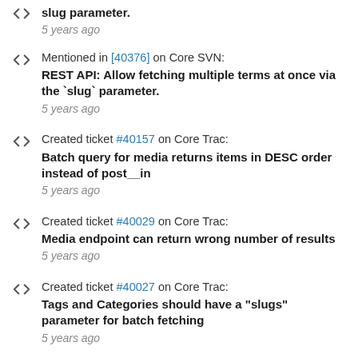slug parameter.
5 years ago
Mentioned in [40376] on Core SVN:
REST API: Allow fetching multiple terms at once via the `slug` parameter.
5 years ago
Created ticket #40157 on Core Trac:
Batch query for media returns items in DESC order instead of post__in
5 years ago
Created ticket #40029 on Core Trac:
Media endpoint can return wrong number of results
5 years ago
Created ticket #40027 on Core Trac:
Tags and Categories should have a "slugs" parameter for batch fetching
5 years ago
Created ticket #39976 on Core Trac:
Taxonomies and Types should return rewrite info